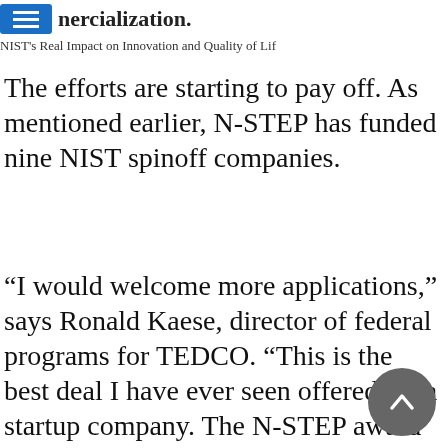mercialization. NIST's Real Impact on Innovation and Quality of Life
The efforts are starting to pay off. As mentioned earlier, N-STEP has funded nine NIST spinoff companies.
“I would welcome more applications,” says Ronald Kaese, director of federal programs for TEDCO. “This is the best deal I have ever seen offered for a startup company. The N-STEP award comes with technology, access to unique facilities and equipment, seed funds and help with